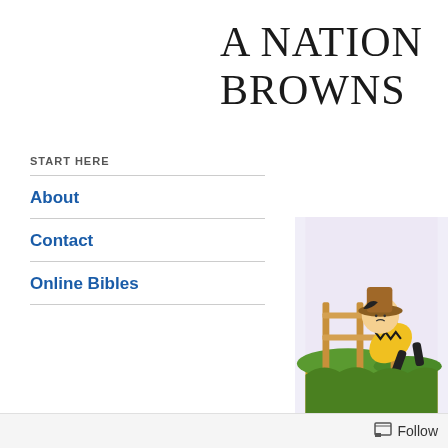A NATION BROWNS
START HERE
About
Contact
Online Bibles
[Figure (illustration): Charlie Brown cartoon character fallen over near a wooden fence on grass, viewed partially cropped on the right side of the page]
Follow